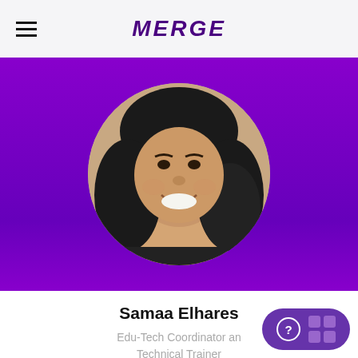MERGE
[Figure (photo): Profile photo of Samaa Elhares, a smiling woman wearing a hijab, displayed in a circular frame on a purple banner background]
Samaa Elhares
Edu-Tech Coordinator and Technical Trainer